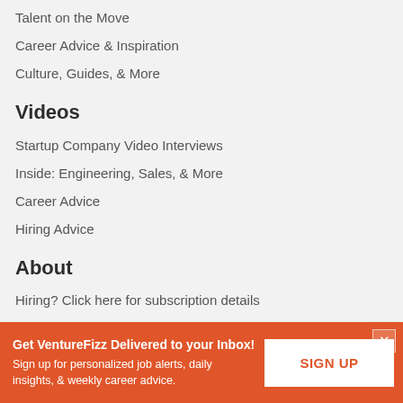Talent on the Move
Career Advice & Inspiration
Culture, Guides, & More
Videos
Startup Company Video Interviews
Inside: Engineering, Sales, & More
Career Advice
Hiring Advice
About
Hiring? Click here for subscription details
Member Login
Contact
Get VentureFizz Delivered to your Inbox! Sign up for personalized job alerts, daily insights, & weekly career advice.